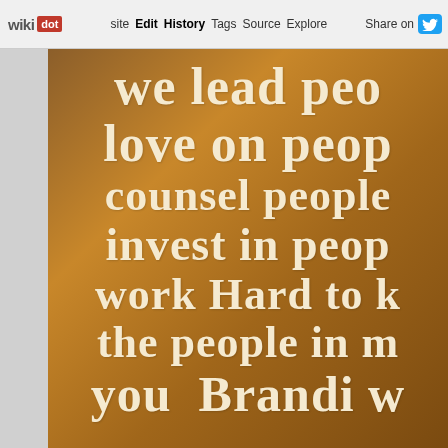wikidot | site Edit History Tags Source Explore Share on Twitter
[Figure (illustration): Motivational poster on leather/parchment brown textured background with large cream/white bold text lines: 'we lead peo', 'love on peop', 'counsel people', 'invest in peop', 'work hard to k', 'the people in m', 'you Brandi W']